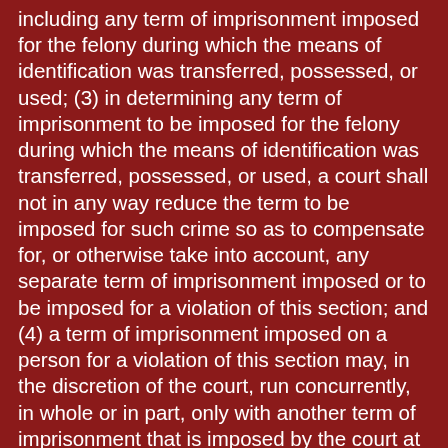including any term of imprisonment imposed for the felony during which the means of identification was transferred, possessed, or used; (3) in determining any term of imprisonment to be imposed for the felony during which the means of identification was transferred, possessed, or used, a court shall not in any way reduce the term to be imposed for such crime so as to compensate for, or otherwise take into account, any separate term of imprisonment imposed or to be imposed for a violation of this section; and (4) a term of imprisonment imposed on a person for a violation of this section may, in the discretion of the court, run concurrently, in whole or in part, only with another term of imprisonment that is imposed by the court at the same time on that person for an additional violation of this section, provided that such discretion shall be exercised in accordance with any applicable guidelines and policy statements issued by the Sentencing Commission pursuant to section 994 of title 28. (c) Definition.— For purposes of this section, the term “felony violation enumerated in subsection (c)” means any offense that is a felony violation of— (1) section 641 (relating to theft of public money, property, or rewards [1]), section 656 (relating to theft, embezzlement, or misapplication by bank